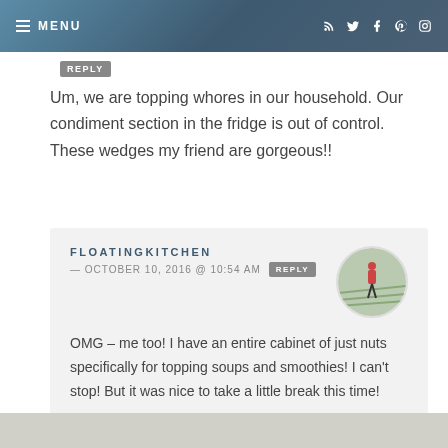≡ MENU
Um, we are topping whores in our household. Our condiment section in the fridge is out of control. These wedges my friend are gorgeous!!
FLOATINGKITCHEN — OCTOBER 10, 2016 @ 10:54 AM REPLY
OMG – me too! I have an entire cabinet of just nuts specifically for topping soups and smoothies! I can't stop! But it was nice to take a little break this time!